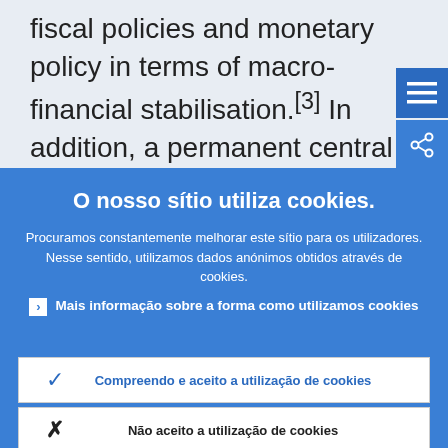fiscal policies and monetary policy in terms of macro-financial stabilisation.[3] In addition, a permanent central fiscal capacity would enhance macroeconomic
O nosso sítio utiliza cookies.
Procuramos constantemente melhorar este sítio para os utilizadores. Nesse sentido, utilizamos dados anónimos obtidos através de cookies.
Mais informação sobre a forma como utilizamos cookies
Compreendo e aceito a utilização de cookies
Não aceito a utilização de cookies